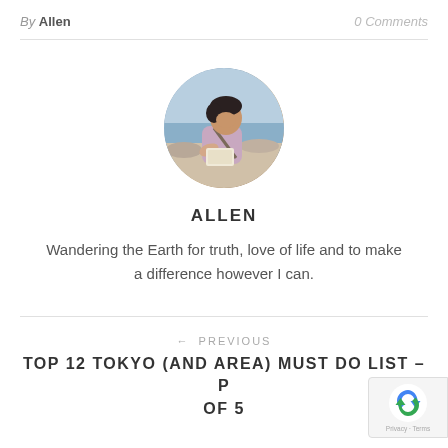By Allen     0 Comments
[Figure (photo): Circular avatar photo of Allen, a person reading/looking down outdoors near water, wearing a pink/lavender shirt with a bag strap, beach or shoreline in background.]
ALLEN
Wandering the Earth for truth, love of life and to make a difference however I can.
← PREVIOUS
TOP 12 TOKYO (AND AREA) MUST DO LIST – P OF 5